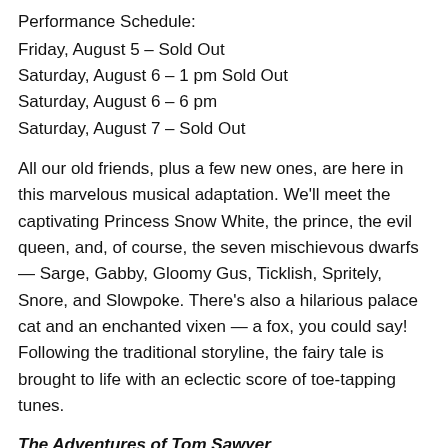Performance Schedule:
Friday, August 5 – Sold Out
Saturday, August 6 – 1 pm Sold Out
Saturday, August 6 – 6 pm
Saturday, August 7 – Sold Out
All our old friends, plus a few new ones, are here in this marvelous musical adaptation. We'll meet the captivating Princess Snow White, the prince, the evil queen, and, of course, the seven mischievous dwarfs — Sarge, Gabby, Gloomy Gus, Ticklish, Spritely, Snore, and Slowpoke. There's also a hilarious palace cat and an enchanted vixen — a fox, you could say! Following the traditional storyline, the fairy tale is brought to life with an eclectic score of toe-tapping tunes.
The Adventures of Tom Sawyer